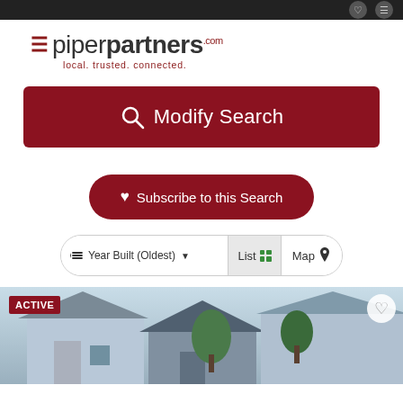[Figure (logo): Piper Partners logo with hamburger menu icon, text 'piperpartners.com' and tagline 'local. trusted. connected.']
Modify Search
Subscribe to this Search
Year Built (Oldest)  List  Map
[Figure (photo): Real estate listing photo showing a light blue house exterior with trees, labeled ACTIVE with a heart/favorite icon.]